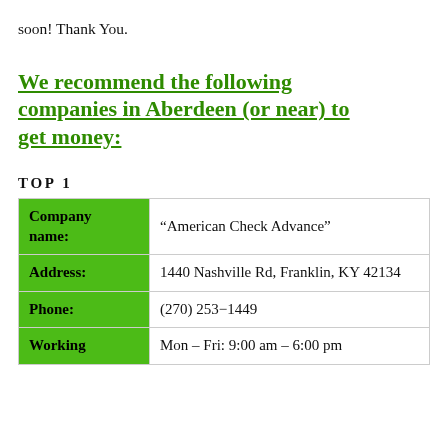soon! Thank You.
We recommend the following companies in Aberdeen (or near) to get money:
TOP 1
|  |  |
| --- | --- |
| Company name: | “American Check Advance” |
| Address: | 1440 Nashville Rd, Franklin, KY 42134 |
| Phone: | (270) 253-1449 |
| Working | Mon – Fri: 9:00 am – 6:00 pm |